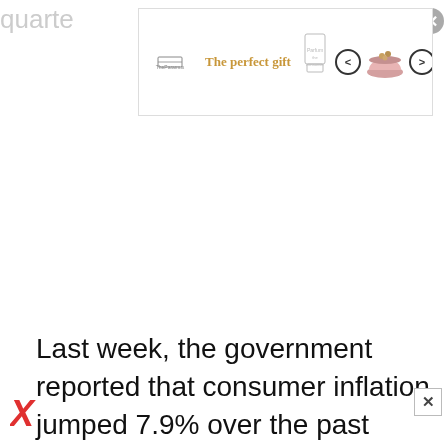quarte
[Figure (screenshot): Advertisement banner: 'The perfect gift' with product images, navigation arrows, and a gold promotional box showing '35% OFF + FREE SHIPPING']
Last week, the government reported that consumer inflation jumped 7.9% over the past year, the